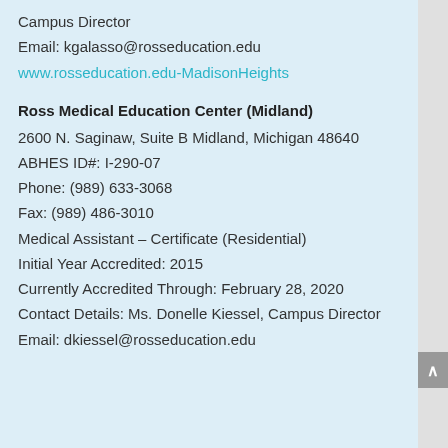Campus Director
Email: kgalasso@rosseducation.edu
www.rosseducation.edu-MadisonHeights
Ross Medical Education Center (Midland)
2600 N. Saginaw, Suite B Midland, Michigan 48640
ABHES ID#: I-290-07
Phone: (989) 633-3068
Fax: (989) 486-3010
Medical Assistant – Certificate (Residential)
Initial Year Accredited: 2015
Currently Accredited Through: February 28, 2020
Contact Details: Ms. Donelle Kiessel, Campus Director
Email: dkiessel@rosseducation.edu